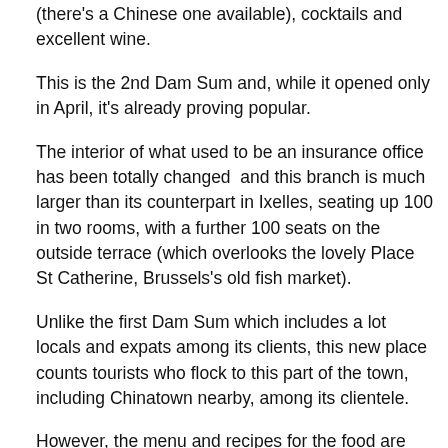(there's a Chinese one available), cocktails and excellent wine.
This is the 2nd Dam Sum and, while it opened only in April, it's already proving popular.
The interior of what used to be an insurance office has been totally changed  and this branch is much larger than its counterpart in Ixelles, seating up 100 in two rooms, with a further 100 seats on the outside terrace (which overlooks the lovely Place St Catherine, Brussels's old fish market).
Unlike the first Dam Sum which includes a lot locals and expats among its clients, this new place counts tourists who flock to this part of the town, including Chinatown nearby, among its clientele.
However, the menu and recipes for the food are the same at both restaurants and it is worth noting that afternoon tea is also served and great effort is made to ensure the